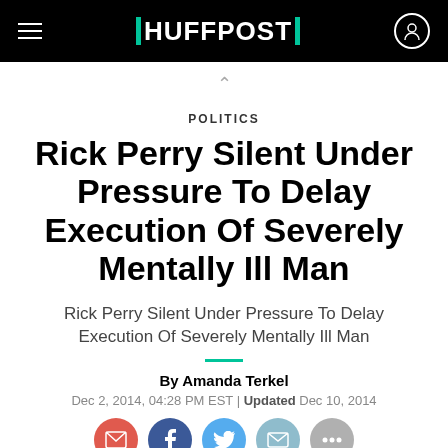HUFFPOST
POLITICS
Rick Perry Silent Under Pressure To Delay Execution Of Severely Mentally Ill Man
Rick Perry Silent Under Pressure To Delay Execution Of Severely Mentally Ill Man
By Amanda Terkel
Dec 2, 2014, 04:28 PM EST | Updated Dec 10, 2014